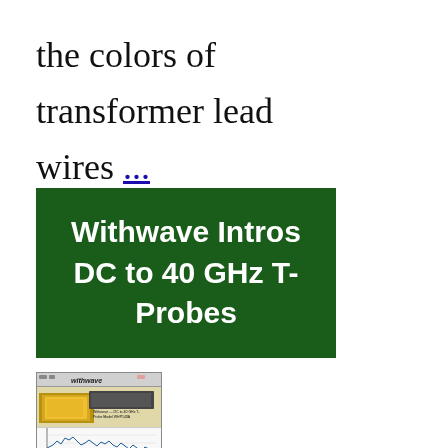the colors of transformer lead wires ...
[Figure (other): Green banner advertisement reading 'Withwave Intros DC to 40 GHz T-Probes' in bold white text on a dark green background.]
[Figure (screenshot): Screenshot of Withwave website showing gold bar image, a probe device, and a frequency response chart with the Withwave logo in the top bar.]